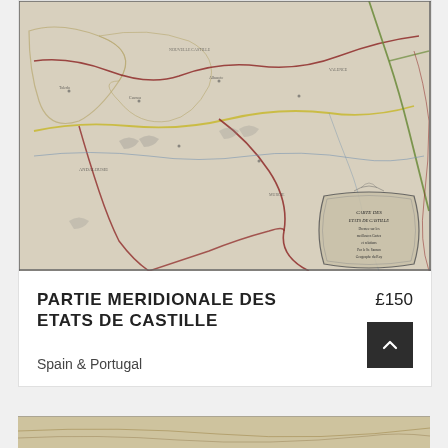[Figure (map): Antique engraved map of southern Castile (Spain), hand-colored with regional boundary lines in red, yellow, and green. Shows topographic features, place names, rivers, and includes a decorative cartouche in the lower right corner.]
PARTIE MERIDIONALE DES ETATS DE CASTILLE
£150
Spain & Portugal
[Figure (map): Partial view of a second antique map visible at the bottom of the page.]